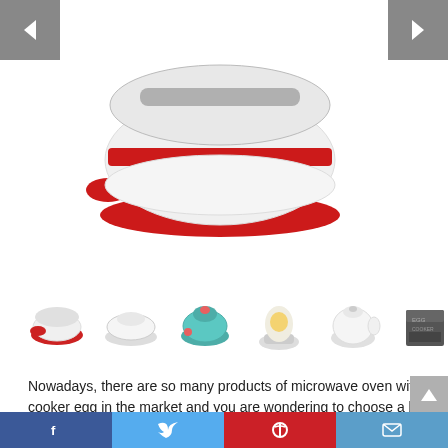[Figure (photo): Product photo of a red and white microwave egg cooker/steamer, partially shown, on white background with left and right navigation arrows]
[Figure (photo): Row of 6 small product thumbnail images: red bowl, white separator pieces, teal egg cooker, egg in cup, white teapot-shaped cooker, grey box packaging]
Nowadays, there are so many products of microwave oven with cooker egg in the market and you are wondering to choose a best one. You have searched for microwave oven with cooker egg in many merchants, compared about products prices & reviews before deciding to buy them.
Facebook | Twitter | Pinterest | Email